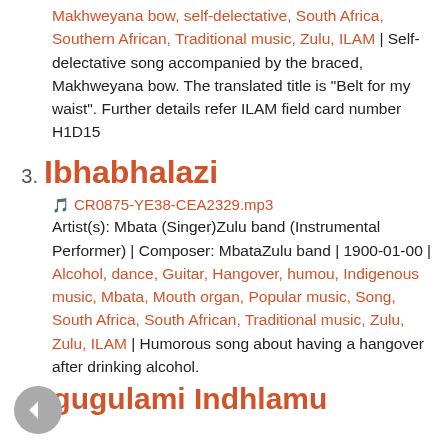Makhweyana bow, self-delectative, South Africa, Southern African, Traditional music, Zulu, ILAM | Self-delectative song accompanied by the braced, Makhweyana bow. The translated title is "Belt for my waist". Further details refer ILAM field card number H1D15
3. Ibhabhalazi
CR0875-YE38-CEA2329.mp3
Artist(s): Mbata (Singer)Zulu band (Instrumental Performer) | Composer: MbataZulu band | 1900-01-00 | Alcohol, dance, Guitar, Hangover, humou, Indigenous music, Mbata, Mouth organ, Popular music, Song, South Africa, South African, Traditional music, Zulu, Zulu, ILAM | Humorous song about having a hangover after drinking alcohol.
4. Igugulami Indhlamu